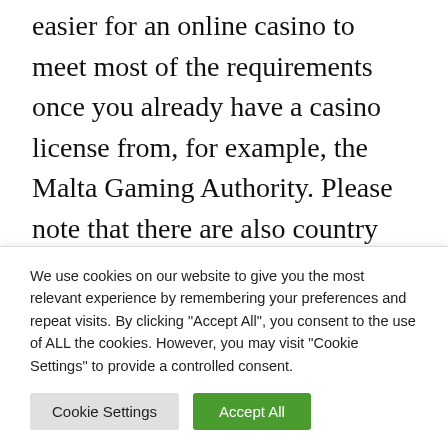easier for an online casino to meet most of the requirements once you already have a casino license from, for example, the Malta Gaming Authority. Please note that there are also country specific requirements in the UK. Especially in the field of advertising there is strict legislation that you need to be aware of to avoid fines. The cost of this Gambling...
We use cookies on our website to give you the most relevant experience by remembering your preferences and repeat visits. By clicking "Accept All", you consent to the use of ALL the cookies. However, you may visit "Cookie Settings" to provide a controlled consent.